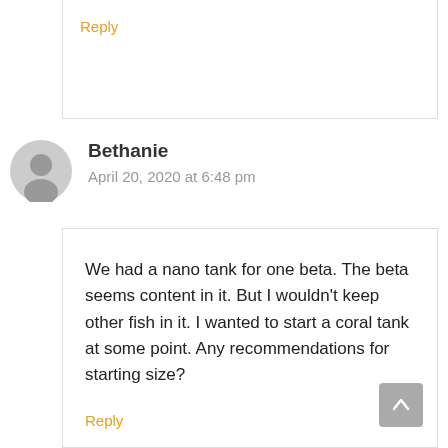Reply
Bethanie
April 20, 2020 at 6:48 pm
We had a nano tank for one beta. The beta seems content in it. But I wouldn't keep other fish in it. I wanted to start a coral tank at some point. Any recommendations for starting size?
Reply